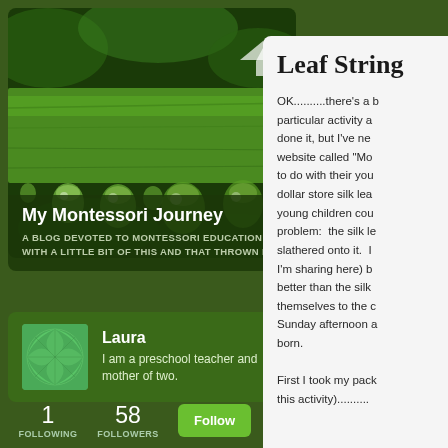[Figure (photo): Close-up macro photograph of water droplets on a green plant stem/leaf against dark green background]
My Montessori Journey
A BLOG DEVOTED TO MONTESSORI EDUCATION WITH A LITTLE BIT OF THIS AND THAT THROWN IN.
Laura
I am a preschool teacher and mother of two.
1 FOLLOWING  58 FOLLOWERS  Follow
Leaf String
OK..........there's a particular activity a done it, but I've ne website called "Mo to do with their yo dollar store silk le young children co problem:  the silk le slathered onto it.  I I'm sharing here) b better than the silk themselves to the  Sunday afternoon  born.

First I took my pac this activity)..........